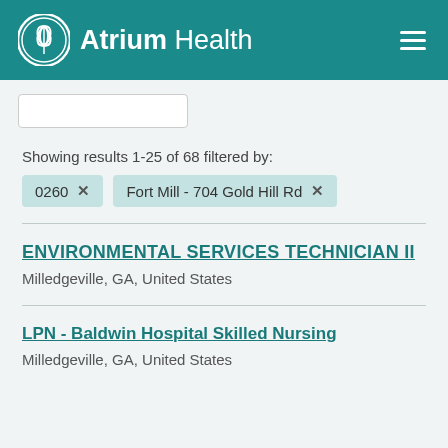Atrium Health
Showing results 1-25 of 68 filtered by:
0260 × | Fort Mill - 704 Gold Hill Rd ×
ENVIRONMENTAL SERVICES TECHNICIAN II
Milledgeville, GA, United States
LPN - Baldwin Hospital Skilled Nursing
Milledgeville, GA, United States